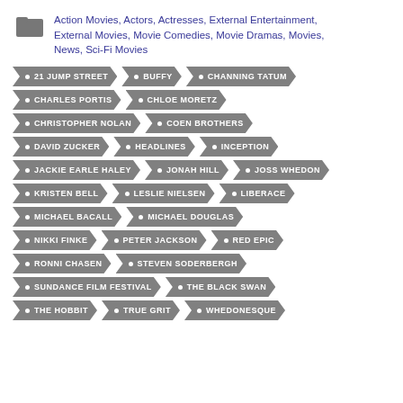Action Movies, Actors, Actresses, External Entertainment, External Movies, Movie Comedies, Movie Dramas, Movies, News, Sci-Fi Movies
21 JUMP STREET
BUFFY
CHANNING TATUM
CHARLES PORTIS
CHLOE MORETZ
CHRISTOPHER NOLAN
COEN BROTHERS
DAVID ZUCKER
HEADLINES
INCEPTION
JACKIE EARLE HALEY
JONAH HILL
JOSS WHEDON
KRISTEN BELL
LESLIE NIELSEN
LIBERACE
MICHAEL BACALL
MICHAEL DOUGLAS
NIKKI FINKE
PETER JACKSON
RED EPIC
RONNI CHASEN
STEVEN SODERBERGH
SUNDANCE FILM FESTIVAL
THE BLACK SWAN
THE HOBBIT
TRUE GRIT
WHEDONESQUE